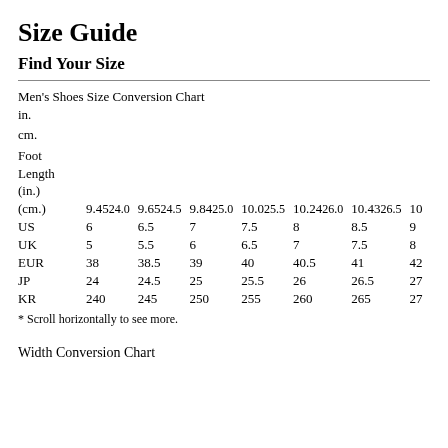Size Guide
Find Your Size
|  | 9.4524.0 | 9.6524.5 | 9.8425.0 | 10.025.5 | 10.2426.0 | 10.4326.5 | 10... |
| --- | --- | --- | --- | --- | --- | --- | --- |
| Foot Length (in.) (cm.) | 9.4524.0 | 9.6524.5 | 9.8425.0 | 10.025.5 | 10.2426.0 | 10.4326.5 | 10... |
| US | 6 | 6.5 | 7 | 7.5 | 8 | 8.5 | 9 |
| UK | 5 | 5.5 | 6 | 6.5 | 7 | 7.5 | 8 |
| EUR | 38 | 38.5 | 39 | 40 | 40.5 | 41 | 42... |
| JP | 24 | 24.5 | 25 | 25.5 | 26 | 26.5 | 27... |
| KR | 240 | 245 | 250 | 255 | 260 | 265 | 27... |
* Scroll horizontally to see more.
Width Conversion Chart